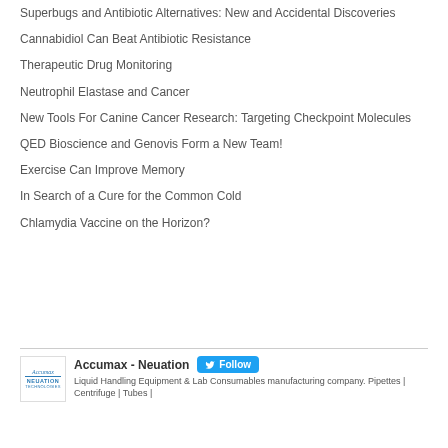Superbugs and Antibiotic Alternatives: New and Accidental Discoveries
Cannabidiol Can Beat Antibiotic Resistance
Therapeutic Drug Monitoring
Neutrophil Elastase and Cancer
New Tools For Canine Cancer Research: Targeting Checkpoint Molecules
QED Bioscience and Genovis Form a New Team!
Exercise Can Improve Memory
In Search of a Cure for the Common Cold
Chlamydia Vaccine on the Horizon?
Accumax - Neuation | Follow | Liquid Handling Equipment & Lab Consumables manufacturing company. Pipettes | Centrifuge | Tubes |